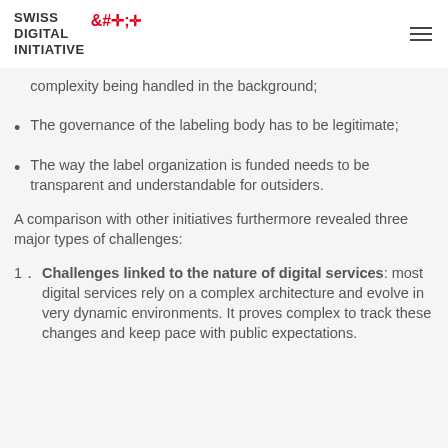SWISS DIGITAL INITIATIVE
complexity being handled in the background;
The governance of the labeling body has to be legitimate;
The way the label organization is funded needs to be transparent and understandable for outsiders.
A comparison with other initiatives furthermore revealed three major types of challenges:
Challenges linked to the nature of digital services: most digital services rely on a complex architecture and evolve in very dynamic environments. It proves complex to track these changes and keep pace with public expectations.